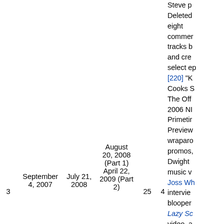Steve p... Deleted eight commentary tracks by and crew select ep [220] "K Cooks S The Off 2006 NI Primetime Preview wraparound promos, Dwight music v Joss Wh interview blooper Lazy Sc video, a 58th An Emmy A excerpt.
| 3 | September 4, 2007 | July 21, 2008 | August 20, 2008 (Part 1) April 22, 2009 (Part 2) | 25 | 4 | ... |